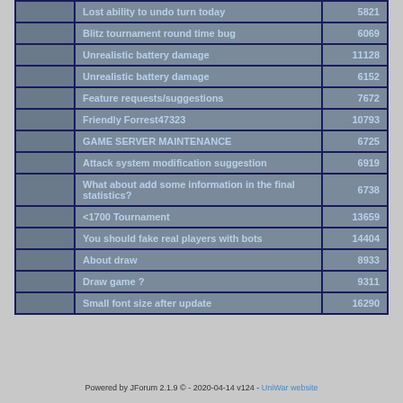|  | Topic | Views |
| --- | --- | --- |
|  | Lost ability to undo turn today | 5821 |
|  | Blitz tournament round time bug | 6069 |
|  | Unrealistic battery damage | 11128 |
|  | Unrealistic battery damage | 6152 |
|  | Feature requests/suggestions | 7672 |
|  | Friendly Forrest47323 | 10793 |
|  | GAME SERVER MAINTENANCE | 6725 |
|  | Attack system modification suggestion | 6919 |
|  | What about add some information in the final statistics? | 6738 |
|  | <1700 Tournament | 13659 |
|  | You should fake real players with bots | 14404 |
|  | About draw | 8933 |
|  | Draw game ? | 9311 |
|  | Small font size after update | 16290 |
Powered by JForum 2.1.9 © - 2020-04-14 v124 - UniWar website